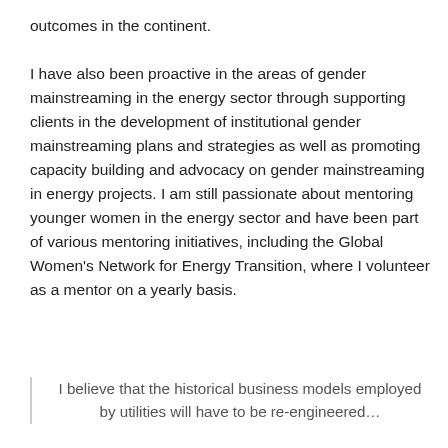outcomes in the continent.

I have also been proactive in the areas of gender mainstreaming in the energy sector through supporting clients in the development of institutional gender mainstreaming plans and strategies as well as promoting capacity building and advocacy on gender mainstreaming in energy projects. I am still passionate about mentoring younger women in the energy sector and have been part of various mentoring initiatives, including the Global Women's Network for Energy Transition, where I volunteer as a mentor on a yearly basis.
I believe that the historical business models employed by utilities will have to be re-engineered…